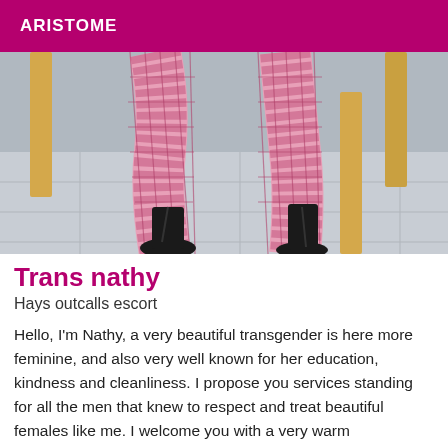ARISTOME
[Figure (photo): Close-up photo of legs wearing pink fishnet stockings and black high-heel patent shoes, standing on a tiled floor near a wooden chair.]
Trans nathy
Hays outcalls escort
Hello, I'm Nathy, a very beautiful transgender is here more feminine, and also very well known for her education, kindness and cleanliness. I propose you services standing for all the men that knew to respect and treat beautiful females like me. I welcome you with a very warm atmosphere with scented candles, music, drinks, showers, massage profissionel with essential oils